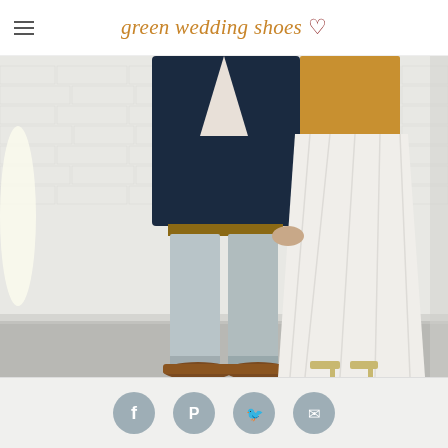green wedding shoes ♥
[Figure (photo): A couple standing together holding hands, photo cropped at torso to feet. The man wears a navy blazer, light grey trousers, brown leather oxford shoes and a tan belt. The woman wears a mustard/gold top, a flowing white skirt, and gold strappy heeled sandals. They stand in front of a white-painted brick wall on a grey concrete floor.]
[Figure (infographic): Social sharing bar with Facebook, Pinterest, Twitter, and Email icons displayed as grey circles on a light grey background.]